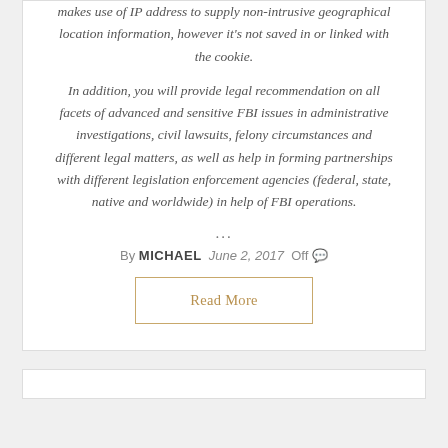makes use of IP address to supply non-intrusive geographical location information, however it's not saved in or linked with the cookie.
In addition, you will provide legal recommendation on all facets of advanced and sensitive FBI issues in administrative investigations, civil lawsuits, felony circumstances and different legal matters, as well as help in forming partnerships with different legislation enforcement agencies (federal, state, native and worldwide) in help of FBI operations.
...
By MICHAEL  June 2, 2017  Off
Read More